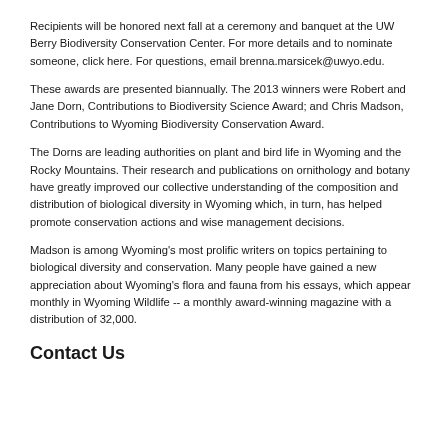Recipients will be honored next fall at a ceremony and banquet at the UW Berry Biodiversity Conservation Center. For more details and to nominate someone, click here. For questions, email brenna.marsicek@uwyo.edu.
These awards are presented biannually. The 2013 winners were Robert and Jane Dorn, Contributions to Biodiversity Science Award; and Chris Madson, Contributions to Wyoming Biodiversity Conservation Award.
The Dorns are leading authorities on plant and bird life in Wyoming and the Rocky Mountains. Their research and publications on ornithology and botany have greatly improved our collective understanding of the composition and distribution of biological diversity in Wyoming which, in turn, has helped promote conservation actions and wise management decisions.
Madson is among Wyoming's most prolific writers on topics pertaining to biological diversity and conservation. Many people have gained a new appreciation about Wyoming's flora and fauna from his essays, which appear monthly in Wyoming Wildlife -- a monthly award-winning magazine with a distribution of 32,000.
Contact Us